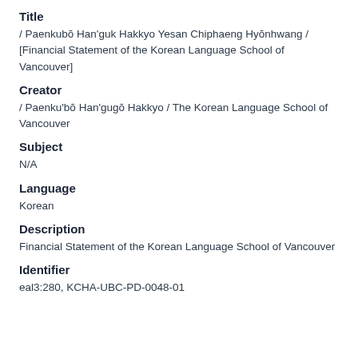Title
/ Paenkubŏ Han'guk Hakkyo Yesan Chiphaeng Hyŏnhwang / [Financial Statement of the Korean Language School of Vancouver]
Creator
/ Paenku'bŏ Han'gugŏ Hakkyo / The Korean Language School of Vancouver
Subject
N/A
Language
Korean
Description
Financial Statement of the Korean Language School of Vancouver
Identifier
eal3:280, KCHA-UBC-PD-0048-01